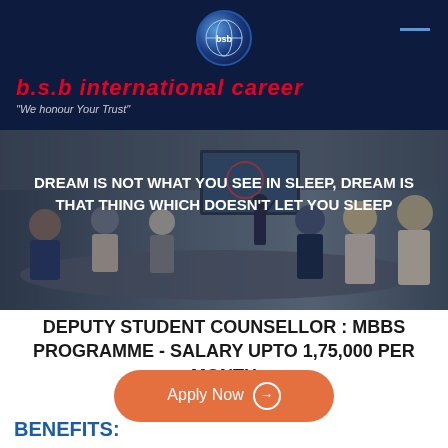b.s.b international career – We honour Your Trust
[Figure (photo): Business meeting scene with people at a conference table and a presenter at a screen, overlaid with motivational text: DREAM IS NOT WHAT YOU SEE IN SLEEP, DREAM IS THAT THING WHICH DOESN'T LET YOU SLEEP]
DEPUTY STUDENT COUNSELLOR : MBBS PROGRAMME - SALARY UPTO 1,75,000 PER MONTH
Apply Now →
BENEFITS: